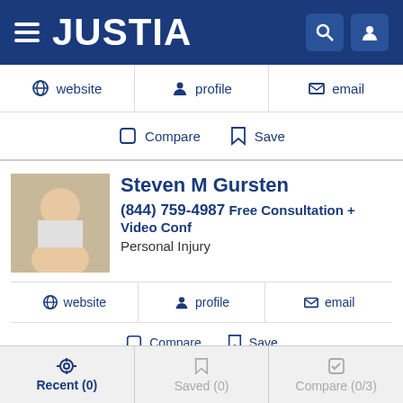JUSTIA
website | profile | email
Compare | Save
Steven M Gursten
(844) 759-4987 Free Consultation + Video Conf
Personal Injury
website | profile | email
Compare | Save
Charles Ash III
Recent (0) | Saved (0) | Compare (0/3)